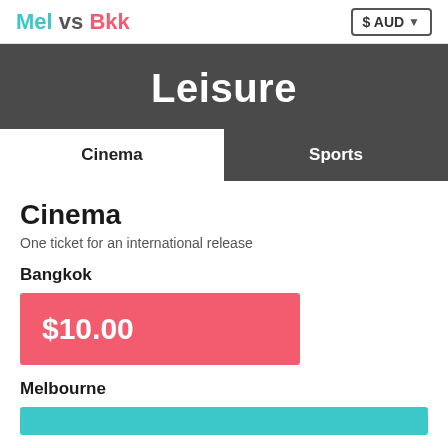Mel vs Bkk   $ AUD
Leisure
Cinema   Sports
Cinema
One ticket for an international release
Bangkok
$10.00
Melbourne